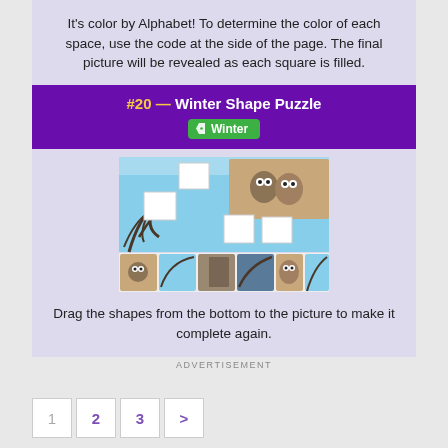It's color by Alphabet! To determine the color of each space, use the code at the side of the page. The final picture will be revealed as each square is filled.
#20 — Winter Shape Puzzle
Winter
[Figure (illustration): A winter scene puzzle showing owls on a snowy tree branch with some squares missing from the picture, and puzzle piece options shown along the bottom strip.]
Drag the shapes from the bottom to the picture to make it complete again.
ADVERTISEMENT
1  2  3  >